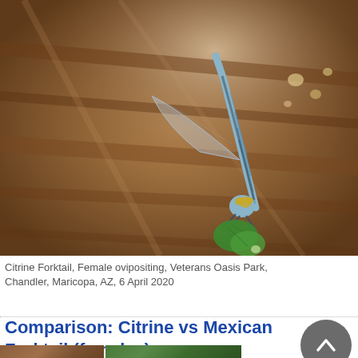[Figure (photo): Close-up macro photograph of a Citrine Forktail damselfly (female) ovipositing on a small green leaf, perched on damp bark/wood. The insect has a blue-grey segmented abdomen curved upward, transparent veined wings, and green eyes. Background shows blurred brown wood and water droplets.]
Citrine Forktail, Female ovipositing, Veterans Oasis Park, Chandler, Maricopa, AZ, 6 April 2020
Comparison: Citrine vs Mexican Forktail (females)
[Figure (photo): Bottom strip showing partial thumbnails of two photographs — a brown/wood-toned image on the left and a green-toned nature image on the right.]